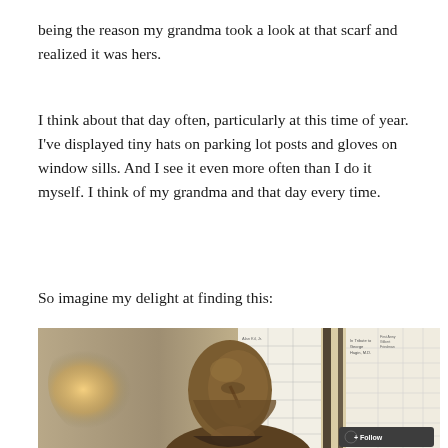being the reason my grandma took a look at that scarf and realized it was hers.
I think about that day often, particularly at this time of year. I've displayed tiny hats on parking lot posts and gloves on window sills. And I see it even more often than I do it myself. I think of my grandma and that day every time.
So imagine my delight at finding this:
[Figure (photo): A bronze bust sculpture of a man in a suit, displayed indoors in front of a wall covered with a large donor/memorial board showing names and amounts. A warm light source glows in the background to the left. A 'Follow' button overlay is visible in the bottom right corner.]